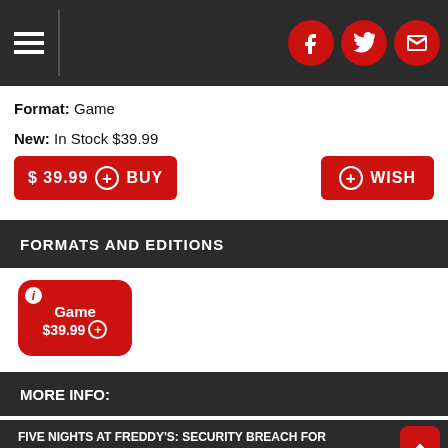Navigation menu with social icons (Facebook, Twitter, Email)
Format: Game
New: In Stock $39.99
$ 39.99 + BUY
+ WISH
FORMATS AND EDITIONS
Game $39.99 +
MORE INFO:
FIVE NIGHTS AT FREDDY'S: SECURITY BREACH FOR PLAYSTATION 4
Five Nights at Freddy's: Security Breach is the latest installment of the